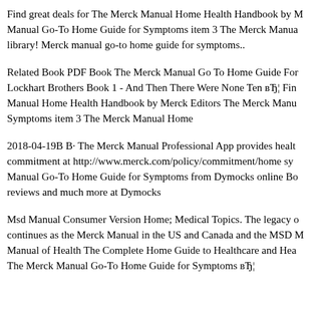Find great deals for The Merck Manual Home Health Handbook by M Manual Go-To Home Guide for Symptoms item 3 The Merck Manua library! Merck manual go-to home guide for symptoms..
Related Book PDF Book The Merck Manual Go To Home Guide For Lockhart Brothers Book 1 - And Then There Were None Ten вЂ¦ Fin Manual Home Health Handbook by Merck Editors The Merck Manu Symptoms item 3 The Merck Manual Home
2018-04-19В В· The Merck Manual Professional App provides healt commitment at http://www.merck.com/policy/commitment/home sy Manual Go-To Home Guide for Symptoms from Dymocks online Bo reviews and much more at Dymocks
Msd Manual Consumer Version Home; Medical Topics. The legacy o continues as the Merck Manual in the US and Canada and the MSD M Manual of Health The Complete Home Guide to Healthcare and Hea The Merck Manual Go-To Home Guide for Symptoms вЂ¦